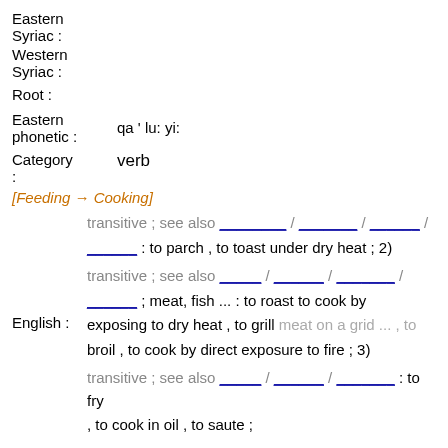Eastern Syriac :
Western Syriac :
Root :
Eastern phonetic : qa ' lu: yi:
Category : verb
[Feeding → Cooking]
transitive ; see also ____ / ____ / ____ / ____ : to parch , to toast under dry heat ; 2)
transitive ; see also ____ / ____ / ____ / ____ ; meat, fish ... : to roast to cook by exposing to dry heat , to grill meat on a grid ... , to broil , to cook by direct exposure to fire ; 3)
English : transitive ; see also ____ / ____ / ____ : to fry , to cook in oil , to saute ;